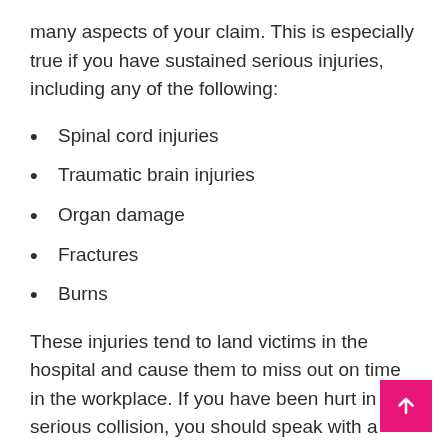many aspects of your claim. This is especially true if you have sustained serious injuries, including any of the following:
Spinal cord injuries
Traumatic brain injuries
Organ damage
Fractures
Burns
These injuries tend to land victims in the hospital and cause them to miss out on time in the workplace. If you have been hurt in a serious collision, you should speak with a Lithia Springs personal injury lawyer as soon as possible.